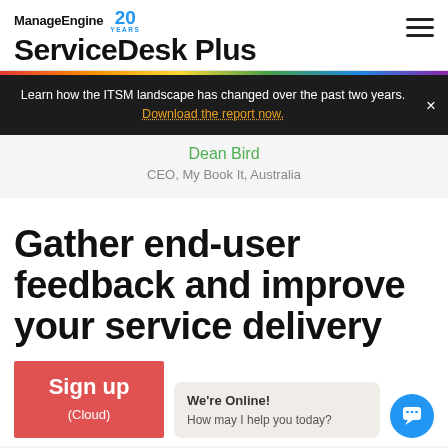ManageEngine 20 YEARS ServiceDesk Plus
Learn how the ITSM landscape has changed over the past two years. Download the report now.
Dean Bird
CEO, My Book It, Australia
Gather end-user feedback and improve your service delivery
Sign up (Cloud)
We're Online! How may I help you today?